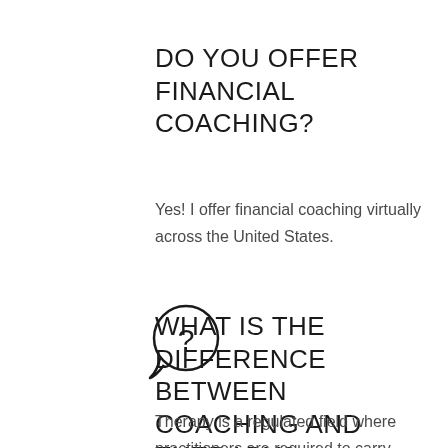DO YOU OFFER FINANCIAL COACHING?
Yes! I offer financial coaching virtually across the United States.
[Figure (illustration): Speech bubble icon with a question mark inside]
WHAT IS THE DIFFERENCE BETWEEN COACHING AND THERAPY?
Therapy is a regulated field where practitioners are required to carry